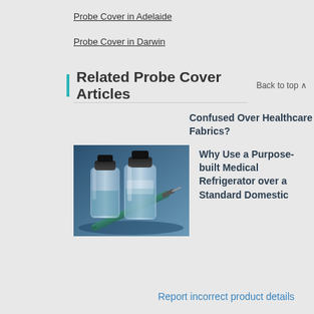Probe Cover in Adelaide
Probe Cover in Darwin
Related Probe Cover Articles
Back to top ∧
Confused Over Healthcare Fabrics?
[Figure (photo): Medical vials and syringes on blue background]
Why Use a Purpose-built Medical Refrigerator over a Standard Domestic
Report incorrect product details